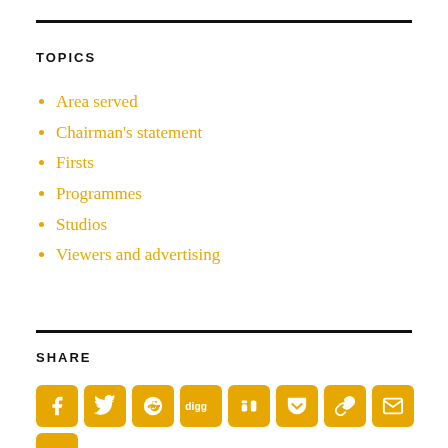TOPICS
Area served
Chairman's statement
Firsts
Programmes
Studios
Viewers and advertising
SHARE
[Figure (infographic): Row of golden social sharing icon buttons: Facebook, Twitter, Reddit, Digg, StumbleUpon, Pocket, Chain/link, Email, Print, and a partial button at the bottom edge.]